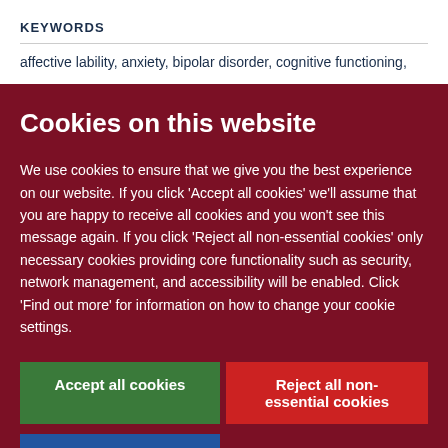KEYWORDS
affective lability, anxiety, bipolar disorder, cognitive functioning,
Cookies on this website
We use cookies to ensure that we give you the best experience on our website. If you click 'Accept all cookies' we'll assume that you are happy to receive all cookies and you won't see this message again. If you click 'Reject all non-essential cookies' only necessary cookies providing core functionality such as security, network management, and accessibility will be enabled. Click 'Find out more' for information on how to change your cookie settings.
Accept all cookies
Reject all non-essential cookies
Find out more